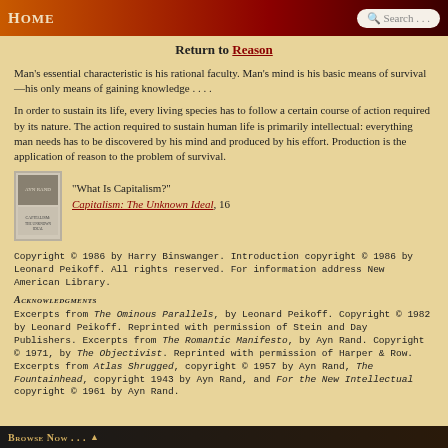HOME   Search . . .
Return to Reason
Man's essential characteristic is his rational faculty. Man's mind is his basic means of survival—his only means of gaining knowledge . . . .
In order to sustain its life, every living species has to follow a certain course of action required by its nature. The action required to sustain human life is primarily intellectual: everything man needs has to be discovered by his mind and produced by his effort. Production is the application of reason to the problem of survival.
[Figure (photo): Book cover thumbnail of Capitalism: The Unknown Ideal by Ayn Rand]
“What Is Capitalism?”
Capitalism: The Unknown Ideal, 16
Copyright © 1986 by Harry Binswanger. Introduction copyright © 1986 by Leonard Peikoff. All rights reserved. For information address New American Library.
Acknowledgments
Excerpts from The Ominous Parallels, by Leonard Peikoff. Copyright © 1982 by Leonard Peikoff. Reprinted with permission of Stein and Day Publishers. Excerpts from The Romantic Manifesto, by Ayn Rand. Copyright © 1971, by The Objectivist. Reprinted with permission of Harper & Row. Excerpts from Atlas Shrugged, copyright © 1957 by Ayn Rand, The Fountainhead, copyright 1943 by Ayn Rand, and For the New Intellectual copyright © 1961 by Ayn Rand.
Browse Now . . .